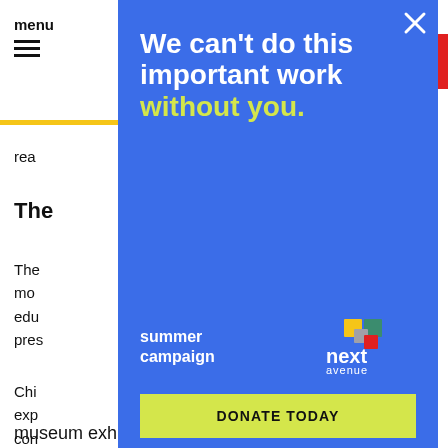menu
read
The
The mov edu pres
Chi exp con and gran ow, not eve
museum exhibits that translate science and
[Figure (infographic): Blue modal overlay with text: We can't do this important work without you. Summer campaign. Next Avenue logo. Donate Today button.]